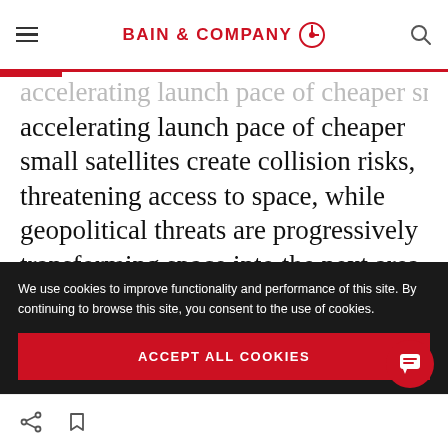BAIN & COMPANY
accelerating launch pace of cheaper small satellites create collision risks, threatening access to space, while geopolitical threats are progressively transforming space into the next area of warfare.
Six potential areas of
We use cookies to improve functionality and performance of this site. By continuing to browse this site, you consent to the use of cookies.
ACCEPT ALL COOKIES